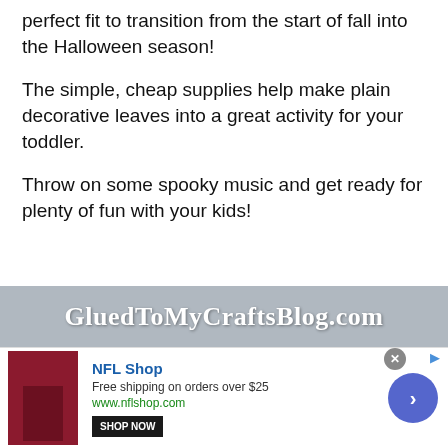perfect fit to transition from the start of fall into the Halloween season!
The simple, cheap supplies help make plain decorative leaves into a great activity for your toddler.
Throw on some spooky music and get ready for plenty of fun with your kids!
[Figure (logo): GluedToMyCraftsBlog.com banner with gray textured background and white bold text]
[Figure (infographic): NFL Shop advertisement: SHOP NOW button, free shipping on orders over $25, www.nflshop.com, with a dark red product image and blue arrow circle button]